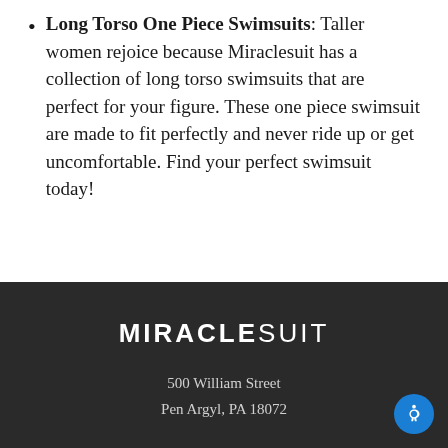Long Torso One Piece Swimsuits: Taller women rejoice because Miraclesuit has a collection of long torso swimsuits that are perfect for your figure. These one piece swimsuit are made to fit perfectly and never ride up or get uncomfortable. Find your perfect swimsuit today!
MIRACLESUIT
500 William Street
Pen Argyl, PA 18072